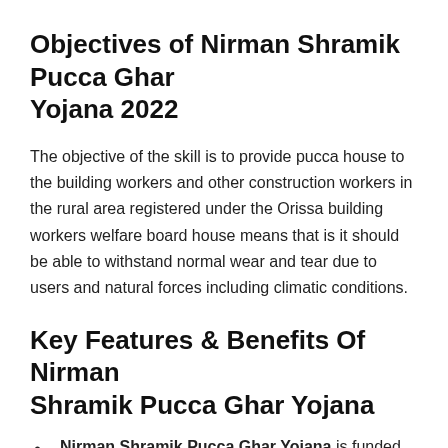Objectives of Nirman Shramik Pucca Ghar Yojana 2022
The objective of the skill is to provide pucca house to the building workers and other construction workers in the rural area registered under the Orissa building workers welfare board house means that is it should be able to withstand normal wear and tear due to users and natural forces including climatic conditions.
Key Features & Benefits Of Nirman Shramik Pucca Ghar Yojana
Nirman Shramik Pucca Ghar Yojana is funded by Odisha building and other construction workers welfare board
Odisha Nirman Shramik Pakka Ghar Yojana launched by